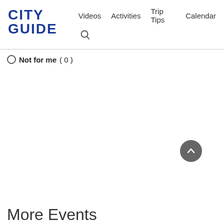CITY GUIDE | Videos  Activities  Trip Tips  Calendar
Not for me ( 0 )
More Events